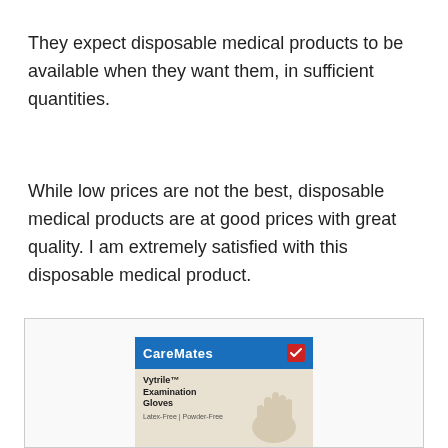They expect disposable medical products to be available when they want them, in sufficient quantities.
While low prices are not the best, disposable medical products are at good prices with great quality. I am extremely satisfied with this disposable medical product.
[Figure (photo): A box of CareMates Vytrile Examination Gloves, powder-free, shown against a light background. The box has a blue top portion with the CareMates brand name and a red logo icon, and a beige/tan lower portion with product name text and an image of gloved hands.]